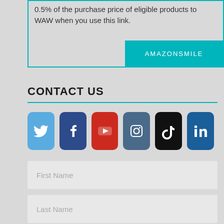0.5% of the purchase price of eligible products to WAW when you use this link.
[Figure (other): AMAZONSMILE button link]
CONTACT US
[Figure (infographic): Social media icons: Twitter, Facebook, YouTube, Instagram, TikTok, LinkedIn]
First Name
Last Name